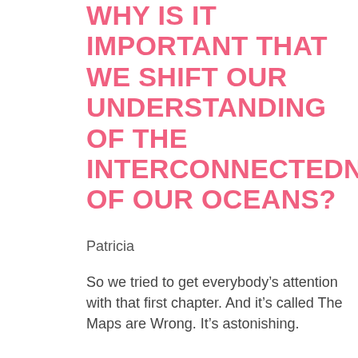WHY IS IT IMPORTANT THAT WE SHIFT OUR UNDERSTANDING OF THE INTERCONNECTEDNESS OF OUR OCEANS?
Patricia
So we tried to get everybody’s attention with that first chapter. And it’s called The Maps are Wrong. It’s astonishing.
The surface of the globe, it’s a sphere, right. And it cannot be represented on a flat map without some distortion. Most of the maps we use in schools or see in books are what’s called projections. So for instance, a cylinder of paper might be wrapped around that globe. And then